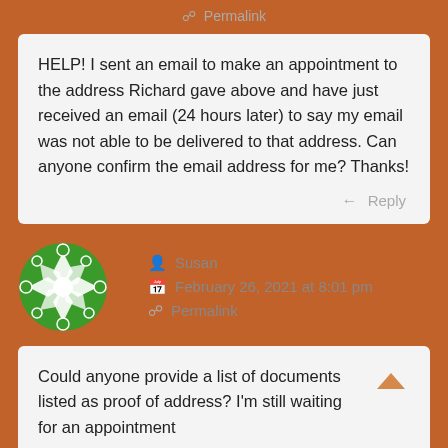Permalink
HELP! I sent an email to make an appointment to the address Richard gave above and have just received an email (24 hours later) to say my email was not able to be delivered to that address. Can anyone confirm the email address for me? Thanks!
Reply
[Figure (illustration): Green decorative circular avatar icon with geometric floral/snowflake pattern]
Susan
February 26, 2021 at 8:01 pm
Permalink
Could anyone provide a list of documents listed as proof of address? I'm still waiting for an appointment